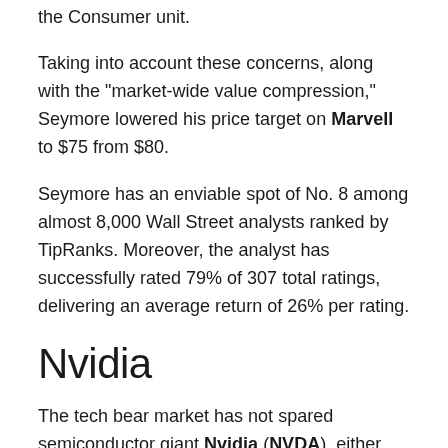the Consumer unit.
Taking into account these concerns, along with the “market-wide value compression,” Seymore lowered his price target on Marvell to $75 from $80.
Seymore has an enviable spot of No. 8 among almost 8,000 Wall Street analysts ranked by TipRanks. Moreover, the analyst has successfully rated 79% of 307 total ratings, delivering an average return of 26% per rating.
Nvidia
The tech bear market has not spared semiconductor giant Nvidia (NVDA), either. The stock has plunged about 36% so far this year. The Russia-Ukraine war and the Covid lockdowns in China are expected to pressure Gaming demand and further fuel supply-chain disruptions, leading